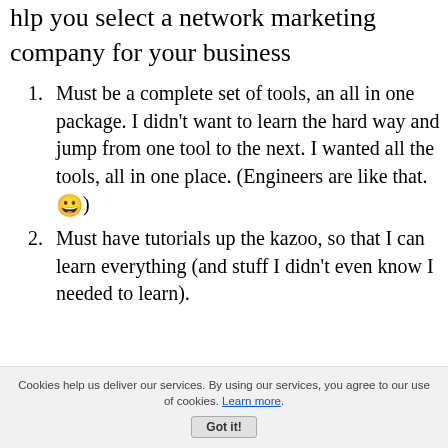hlp you select a network marketing company for your business
Must be a complete set of tools, an all in one package. I didn't want to learn the hard way and jump from one tool to the next. I wanted all the tools, all in one place. (Engineers are like that. 😀)
Must have tutorials up the kazoo, so that I can learn everything (and stuff I didn't even know I needed to learn).
Cookies help us deliver our services. By using our services, you agree to our use of cookies. Learn more. Got it!